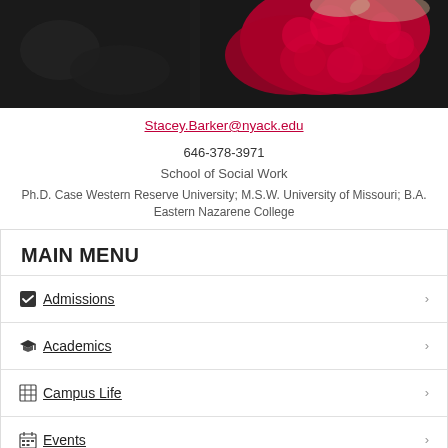[Figure (photo): Close-up photo of person wearing dark clothing with red knitted/crocheted flowers or texture, dark background]
Stacey.Barker@nyack.edu
646-378-3971
School of Social Work
Ph.D. Case Western Reserve University; M.S.W. University of Missouri; B.A. Eastern Nazarene College
MAIN MENU
Admissions
Academics
Campus Life
Events